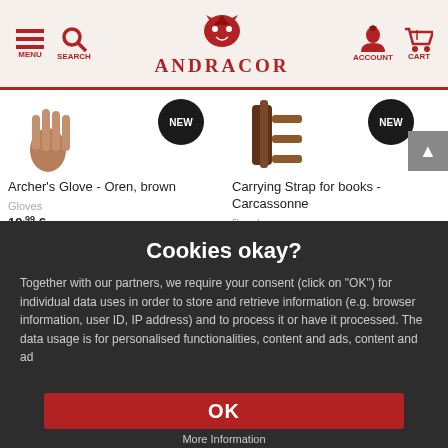ANDRACOR - MENU, SEARCH, ACCOUNT, CART navigation header
[Figure (screenshot): Archer's Glove - Oren, brown product thumbnail with NEW badge]
Archer's Glove - Oren, brown
Gloves
19.99 €
[Figure (screenshot): Carrying Strap for books - Carcassonne product thumbnail with NEW badge]
Carrying Strap for books - Carcassonne
Pouches
59.99 €
Cookies okay?
Together with our partners, we require your consent (click on "OK") for individual data uses in order to store and retrieve information (e.g. browser information, user ID, IP address) and to process it or have it processed. The data usage is for personalised functionalities, content and ads, content and ad
OK
More Information